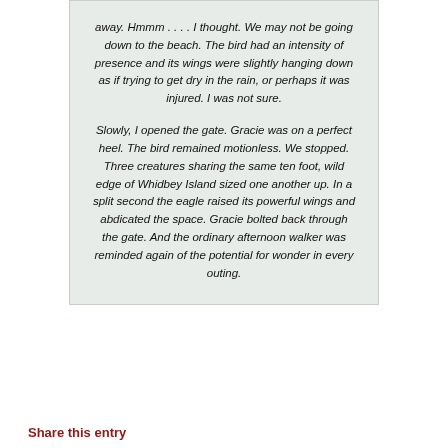away. Hmmm . . . . I thought. We may not be going down to the beach. The bird had an intensity of presence and its wings were slightly hanging down as if trying to get dry in the rain, or perhaps it was injured. I was not sure.

Slowly, I opened the gate. Gracie was on a perfect heel. The bird remained motionless. We stopped. Three creatures sharing the same ten foot, wild edge of Whidbey Island sized one another up. In a split second the eagle raised its powerful wings and abdicated the space. Gracie bolted back through the gate. And the ordinary afternoon walker was reminded again of the potential for wonder in every outing.
Share this entry